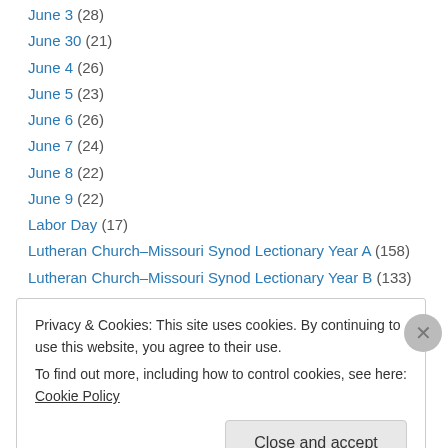June 3 (28)
June 30 (21)
June 4 (26)
June 5 (23)
June 6 (26)
June 7 (24)
June 8 (22)
June 9 (22)
Labor Day (17)
Lutheran Church–Missouri Synod Lectionary Year A (158)
Lutheran Church–Missouri Synod Lectionary Year B (133)
Lutheran Church–Missouri Synod Lectionary Year C (133)
May 18 (16)
Privacy & Cookies: This site uses cookies. By continuing to use this website, you agree to their use. To find out more, including how to control cookies, see here: Cookie Policy
Close and accept